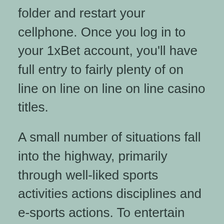folder and restart your cellphone. Once you log in to your 1xBet account, you'll have full entry to fairly plenty of on line on line on line on line casino titles.
A small number of situations fall into the highway, primarily through well-liked sports activities actions disciplines and e-sports actions. To entertain your prospects, the company added the flexibleness to talk immediately with institutional representatives by way of on-line conversations with 1xbet functions. As a major rule, they respond in a few minutes, which velocity up the technique to